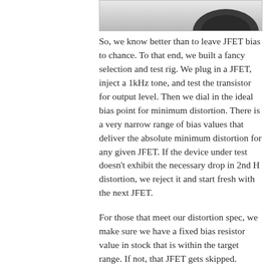[Figure (photo): Partial photo of a component or device, showing a dark rounded object against a light background, cropped at the top of the page]
So, we know better than to leave JFET bias to chance. To that end, we built a fancy selection and test rig. We plug in a JFET, inject a 1kHz tone, and test the transistor for output level. Then we dial in the ideal bias point for minimum distortion. There is a very narrow range of bias values that deliver the absolute minimum distortion for any given JFET. If the device under test doesn't exhibit the necessary drop in 2nd H distortion, we reject it and start fresh with the next JFET.
For those that meet our distortion spec, we make sure we have a fixed bias resistor value in stock that is within the target range. If not, that JFET gets skipped.
Then we take it one step farther...